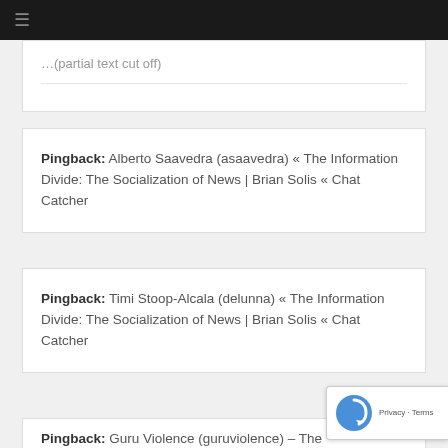≡
…(partial/cut-off text from previous comment)
Pingback: Alberto Saavedra (asaavedra) « The Information Divide: The Socialization of News | Brian Solis « Chat Catcher
Pingback: Timi Stoop-Alcala (delunna) « The Information Divide: The Socialization of News | Brian Solis « Chat Catcher
Pingback: Guru Violence (guruviolence) – The…